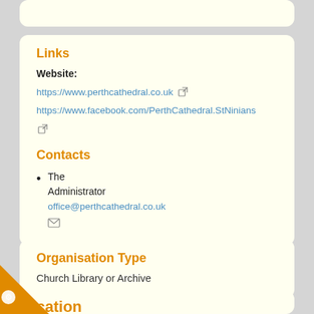Links
Website:
https://www.perthcathedral.co.uk
https://www.facebook.com/PerthCathedral.StNinians
Contacts
The Administrator
office@perthcathedral.co.uk
Organisation Type
Church Library or Archive
cation